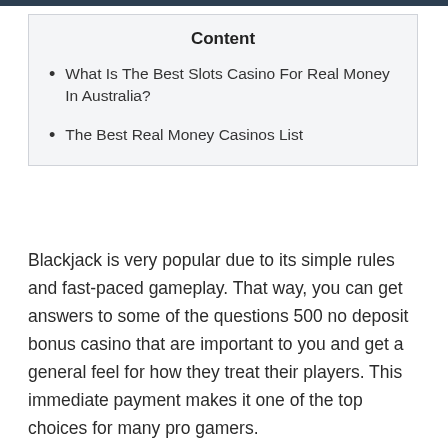Content
What Is The Best Slots Casino For Real Money In Australia?
The Best Real Money Casinos List
Blackjack is very popular due to its simple rules and fast-paced gameplay. That way, you can get answers to some of the questions 500 no deposit bonus casino that are important to you and get a general feel for how they treat their players. This immediate payment makes it one of the top choices for many pro gamers.